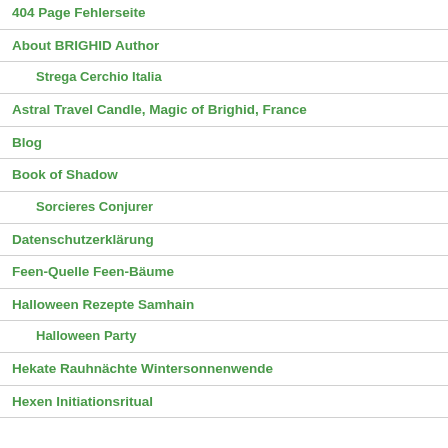404 Page Fehlerseite
About BRIGHID Author
Strega Cerchio Italia
Astral Travel Candle, Magic of Brighid, France
Blog
Book of Shadow
Sorcieres Conjurer
Datenschutzerklärung
Feen-Quelle Feen-Bäume
Halloween Rezepte Samhain
Halloween Party
Hekate Rauhnächte Wintersonnenwende
Hexen Initiationsritual